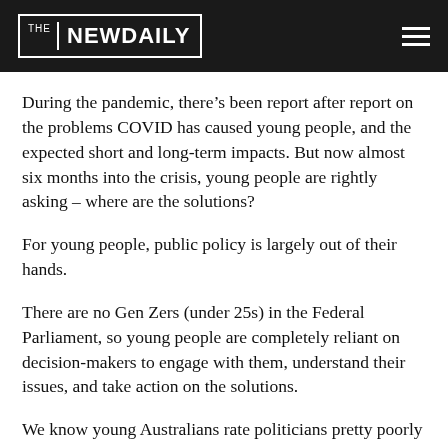THE NEW DAILY
During the pandemic, there’s been report after report on the problems COVID has caused young people, and the expected short and long-term impacts. But now almost six months into the crisis, young people are rightly asking – where are the solutions?
For young people, public policy is largely out of their hands.
There are no Gen Zers (under 25s) in the Federal Parliament, so young people are completely reliant on decision-makers to engage with them, understand their issues, and take action on the solutions.
We know young Australians rate politicians pretty poorly when it comes to the whole “engaging and understanding young people” thing.